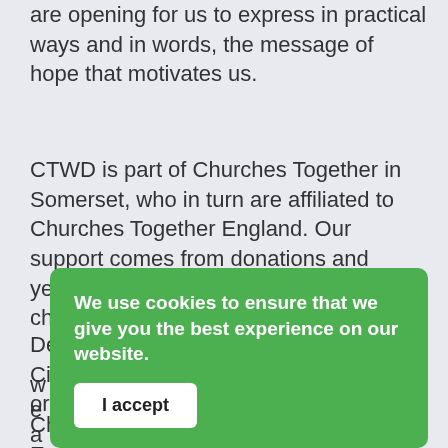are opening for us to express in practical ways and in words, the message of hope that motivates us.
CTWD is part of Churches Together in Somerset, who in turn are affiliated to Churches Together England. Our support comes from donations and yearly subscriptions paid by member churches.
Deacon Gary Hoare from the Methodist Circuit in WsM is our President. He co-ordinates the w... e... a... c...
[Figure (other): Cookie consent overlay banner with green background. Text reads: 'We use cookies to ensure that we give you the best experience on our website.' Below is a white button labeled 'I accept'.]
Churches Together is run by an Executive